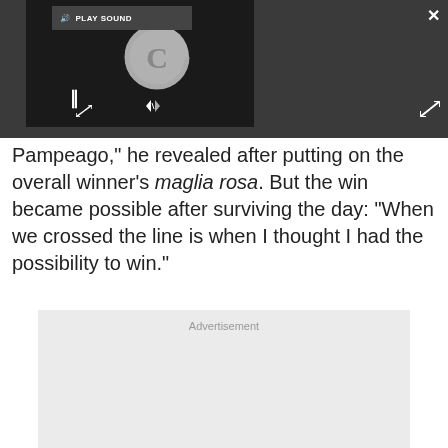[Figure (screenshot): A video player embedded in a dark gray bar at the top of the page. The player shows a loading/buffering circle icon with a 'C' shape in gray on a black background. A 'PLAY SOUND' button with a speaker icon is visible at top left of the player. Pause (||) and other control icons are at the bottom. A close (×) button is at the top right of the dark bar, and an expand icon is at the bottom right.]
Pampeago," he revealed after putting on the overall winner's maglia rosa. But the win became possible after surviving the day: "When we crossed the line is when I thought I had the possibility to win."
[Figure (other): Advertisement placeholder box with light gray background and the word 'Advertisement' in gray text at the top center.]